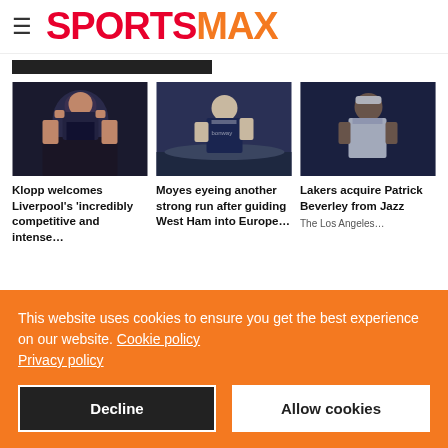SPORTSMAX
[Figure (photo): Klopp applauding in dark setting, Liverpool FC]
Klopp welcomes Liverpool's 'incredibly competitive and intense…
[Figure (photo): Moyes gesturing on a football pitch in West Ham gear]
Moyes eyeing another strong run after guiding West Ham into Europe…
[Figure (photo): Patrick Beverley basketball player with headband]
Lakers acquire Patrick Beverley from Jazz
The Los Angeles…
This website uses cookies to ensure you get the best experience on our website. Cookie policy Privacy policy
Decline
Allow cookies